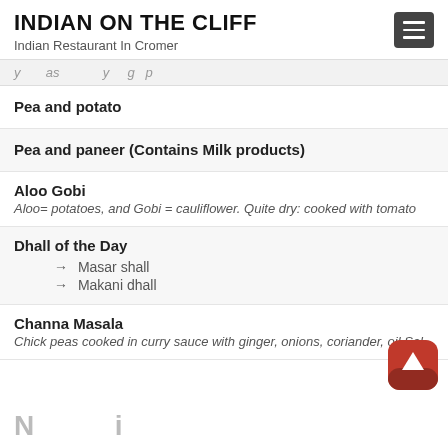INDIAN ON THE CLIFF
Indian Restaurant In Cromer
(partially visible cut-off text row)
Pea and potato
Pea and paneer (Contains Milk products)
Aloo Gobi
Aloo= potatoes, and Gobi = cauliflower. Quite dry: cooked with tomato
Dhall of the Day
→ Masar shall
→ Makani dhall
Channa Masala
Chick peas cooked in curry sauce with ginger, onions, coriander, oil,Sal